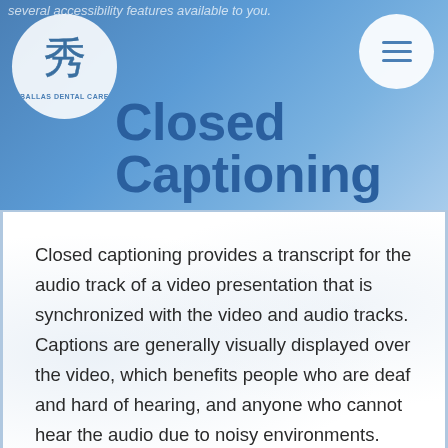several accessibility features available to you.
[Figure (logo): Ballas Dental Care logo: circular white badge with Chinese character and text 'BALLAS DENTAL CARE']
Closed Captioning
Closed captioning provides a transcript for the audio track of a video presentation that is synchronized with the video and audio tracks. Captions are generally visually displayed over the video, which benefits people who are deaf and hard of hearing, and anyone who cannot hear the audio due to noisy environments. Written descriptions of our services are available for those who are unable to hear our videos and/or for videos that do not have closed captioning.